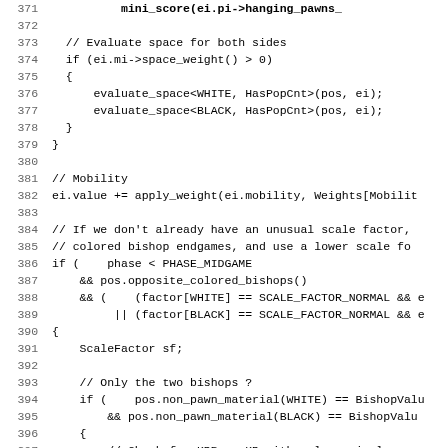[Figure (screenshot): Source code listing in monospace font showing C++ chess engine evaluation code, lines 371-403, with line numbers on left and code content on right. The code shows evaluation of space for both sides, mobility, and scale factor logic for opposite colored bishop endgames.]